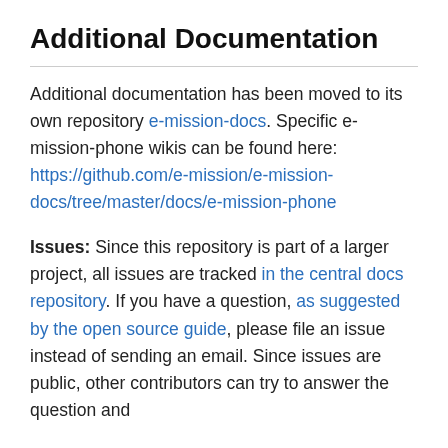Additional Documentation
Additional documentation has been moved to its own repository e-mission-docs. Specific e-mission-phone wikis can be found here: https://github.com/e-mission/e-mission-docs/tree/master/docs/e-mission-phone
Issues: Since this repository is part of a larger project, all issues are tracked in the central docs repository. If you have a question, as suggested by the open source guide, please file an issue instead of sending an email. Since issues are public, other contributors can try to answer the question and